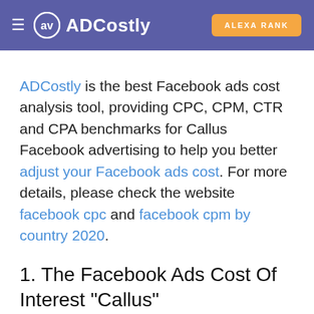ADCostly | ALEXA RANK
ADCostly is the best Facebook ads cost analysis tool, providing CPC, CPM, CTR and CPA benchmarks for Callus Facebook advertising to help you better adjust your Facebook ads cost. For more details, please check the website facebook cpc and facebook cpm by country 2020.
1. The Facebook Ads Cost Of Interest "Callus"